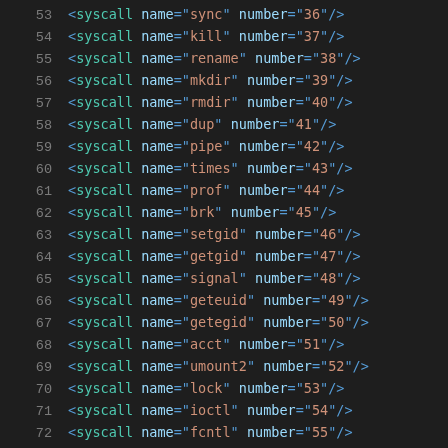53    <syscall name="sync" number="36"/>
54    <syscall name="kill" number="37"/>
55    <syscall name="rename" number="38"/>
56    <syscall name="mkdir" number="39"/>
57    <syscall name="rmdir" number="40"/>
58    <syscall name="dup" number="41"/>
59    <syscall name="pipe" number="42"/>
60    <syscall name="times" number="43"/>
61    <syscall name="prof" number="44"/>
62    <syscall name="brk" number="45"/>
63    <syscall name="setgid" number="46"/>
64    <syscall name="getgid" number="47"/>
65    <syscall name="signal" number="48"/>
66    <syscall name="geteuid" number="49"/>
67    <syscall name="getegid" number="50"/>
68    <syscall name="acct" number="51"/>
69    <syscall name="umount2" number="52"/>
70    <syscall name="lock" number="53"/>
71    <syscall name="ioctl" number="54"/>
72    <syscall name="fcntl" number="55"/>
73    <syscall name="mpx" number="56"/>
74    <syscall name="..." number="57"/>